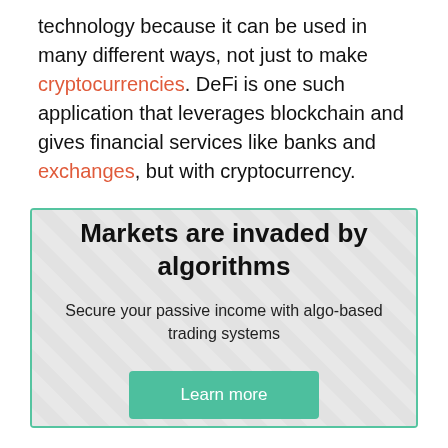technology because it can be used in many different ways, not just to make cryptocurrencies. DeFi is one such application that leverages blockchain and gives financial services like banks and exchanges, but with cryptocurrency.
[Figure (infographic): Advertisement box with diagonal stripe background, teal border. Title: 'Markets are invaded by algorithms'. Subtitle: 'Secure your passive income with algo-based trading systems'. Button: 'Learn more'.]